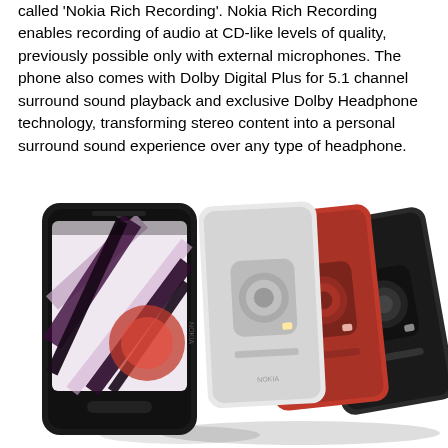called 'Nokia Rich Recording'. Nokia Rich Recording enables recording of audio at CD-like levels of quality, previously possible only with external microphones. The phone also comes with Dolby Digital Plus for 5.1 channel surround sound playback and exclusive Dolby Headphone technology, transforming stereo content into a personal surround sound experience over any type of headphone.
[Figure (photo): Four Nokia 808 PureView smartphones arranged in a fan/stack layout showing the front and back, in four colors: black (front), white, red, and dark gray/black, each showing a large camera module on the back.]